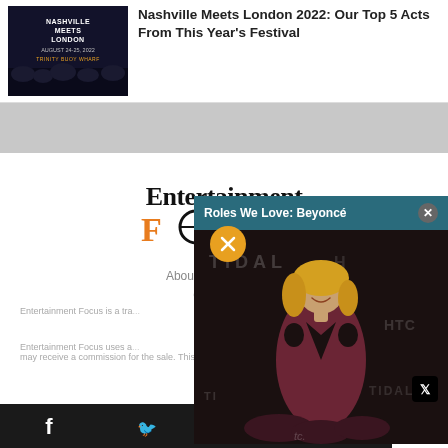[Figure (photo): Nashville Meets London 2022 festival thumbnail image with dark background]
Nashville Meets London 2022: Our Top 5 Acts From This Year's Festival
[Figure (logo): Entertainment Focus logo with crosshair O in FOCUS in orange]
About us   Contact   W...
Copyright ©...
Entertainment Focus is a tra...
Entertainment Focus uses a... may receive a commission for the sale. This has no effect on the price for
[Figure (photo): Popup overlay showing Beyoncé at TIDAL event with title Roles We Love: Beyoncé]
Social share bar with Facebook, Twitter, Flipboard, Email icons